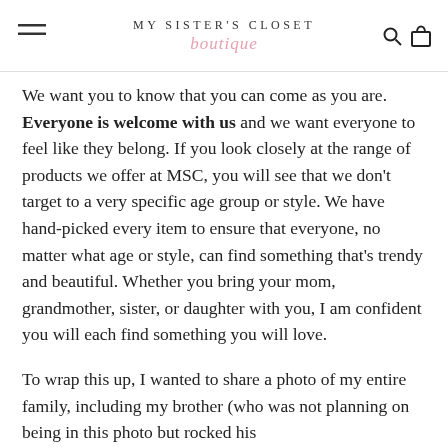MY SISTER'S CLOSET boutique
We want you to know that you can come as you are. Everyone is welcome with us and we want everyone to feel like they belong. If you look closely at the range of products we offer at MSC, you will see that we don't target to a very specific age group or style. We have hand-picked every item to ensure that everyone, no matter what age or style, can find something that's trendy and beautiful. Whether you bring your mom, grandmother, sister, or daughter with you, I am confident you will each find something you will love.
To wrap this up, I wanted to share a photo of my entire family, including my brother (who was not planning on being in this photo but rocked his